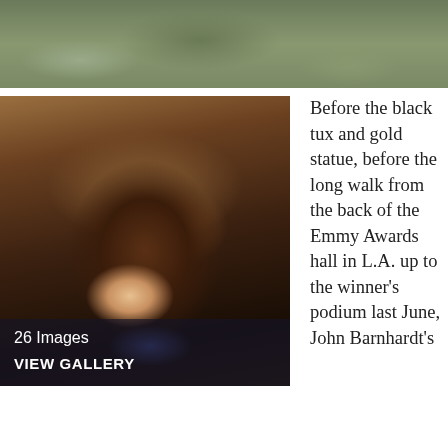[Figure (photo): Top portion of a photo showing a person outdoors, with grass and gravel visible, cropped at the top of the page]
[Figure (photo): Close-up photo of a young Black boy smiling at the camera, leaning against wooden posts. Overlay text reads '26 Images' and 'VIEW GALLERY']
Before the black tux and gold statue, before the long walk from the back of the Emmy Awards hall in L.A. up to the winner's podium last June, John Barnhardt's brief moment of fame entailed another walk. A very slow, silent walk in a 2011 slow-motion film in which Barnhardt costars with Bill Murray, Les Cinéastes (The Filmmakers). You probably missed it. Most of us did—it's only a 58-